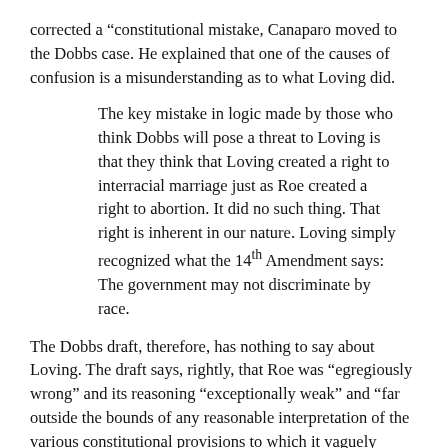corrected a “constitutional mistake, Canaparo moved to the Dobbs case. He explained that one of the causes of confusion is a misunderstanding as to what Loving did.
The key mistake in logic made by those who think Dobbs will pose a threat to Loving is that they think that Loving created a right to interracial marriage just as Roe created a right to abortion. It did no such thing. That right is inherent in our nature. Loving simply recognized what the 14th Amendment says: The government may not discriminate by race.
The Dobbs draft, therefore, has nothing to say about Loving. The draft says, rightly, that Roe was “egregiously wrong” and its reasoning “exceptionally weak” and “far outside the bounds of any reasonable interpretation of the various constitutional provisions to which it vaguely pointed.”
It says, rightly again, that the court “has neither the